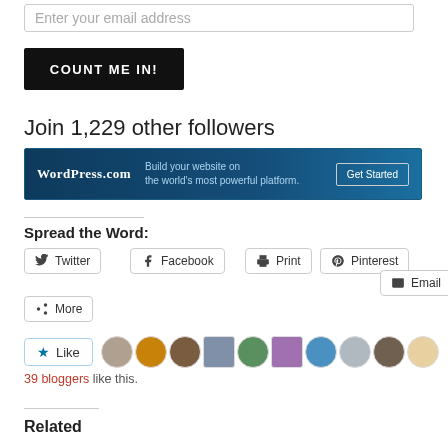Enter your email address
[Figure (screenshot): Black button with white bold text COUNT ME IN!]
Join 1,229 other followers
[Figure (screenshot): WordPress.com banner: Build your website on the world's most powerful platform. Get Started button.]
Spread the Word:
Twitter
Facebook
Print
Pinterest
Email
More
[Figure (screenshot): Like button with star icon and row of blogger avatar thumbnails]
39 bloggers like this.
Related